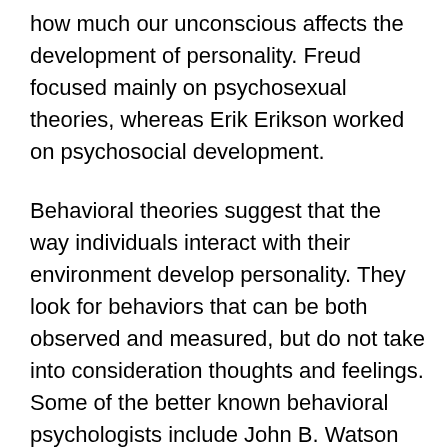how much our unconscious affects the development of personality. Freud focused mainly on psychosexual theories, whereas Erik Erikson worked on psychosocial development.
Behavioral theories suggest that the way individuals interact with their environment develop personality. They look for behaviors that can be both observed and measured, but do not take into consideration thoughts and feelings. Some of the better known behavioral psychologists include John B. Watson and B.F. Skinner.
Lastly, there are the humanist concepts. They focus on how important the role of free will is and believe our personality develops through individual experiences. Abraham Maslow and Carl Rogers are probably the most famous humanist psychologist...